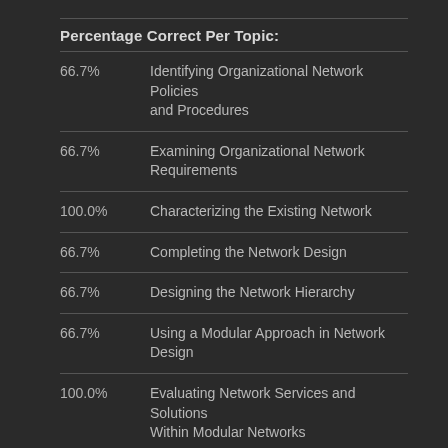Percentage Correct Per Topic:
66.7%	Identifying Organizational Network Policies and Procedures
66.7%	Examining Organizational Network Requirements
100.0%	Characterizing the Existing Network
66.7%	Completing the Network Design
66.7%	Designing the Network Hierarchy
66.7%	Using a Modular Approach in Network Design
100.0%	Evaluating Network Services and Solutions Within Modular Networks
100.0%	Reviewing the Campus Design Methodology